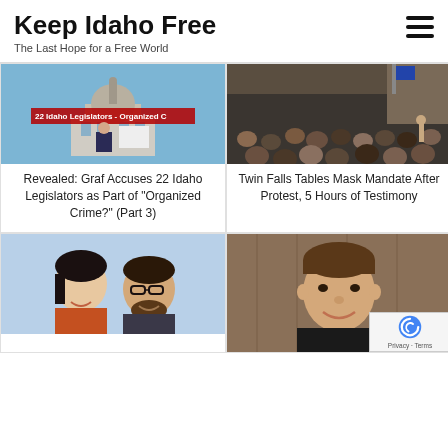Keep Idaho Free
The Last Hope for a Free World
[Figure (photo): Photo of a man presenting in front of a screen with text '22 Idaho Legislators - Organized C...' with Idaho Capitol building visible]
Revealed: Graf Accuses 22 Idaho Legislators as Part of "Organized Crime?" (Part 3)
[Figure (photo): Photo of a crowded room with people seated at a public meeting or hearing]
Twin Falls Tables Mask Mandate After Protest, 5 Hours of Testimony
[Figure (photo): Photo of two people smiling together (a woman with dark hair and a man with glasses)]
[Figure (photo): Photo of a man smiling in front of a wooden background]